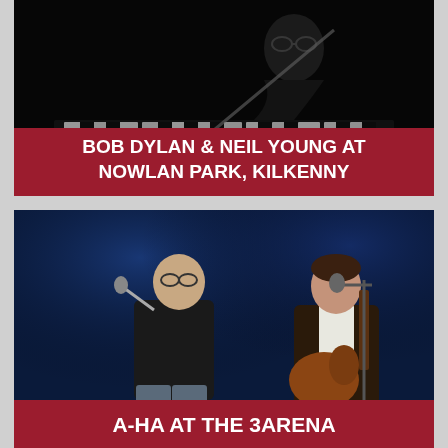[Figure (photo): Black and white photo of a musician (Bob Dylan) at a piano/keyboard, profile view, wearing glasses]
BOB DYLAN & NEIL YOUNG AT NOWLAN PARK, KILKENNY
[Figure (photo): Color concert photo of two performers on stage against a blue background — one singing into a microphone wearing a black t-shirt, another playing guitar in a leather jacket]
A-HA AT THE 3ARENA